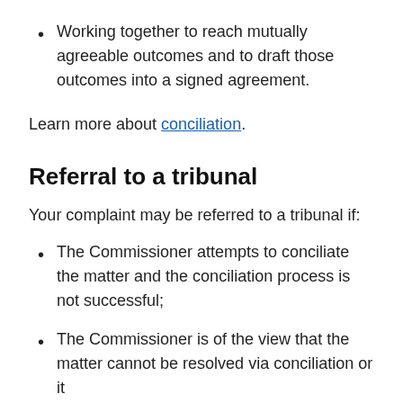Working together to reach mutually agreeable outcomes and to draft those outcomes into a signed agreement.
Learn more about conciliation.
Referral to a tribunal
Your complaint may be referred to a tribunal if:
The Commissioner attempts to conciliate the matter and the conciliation process is not successful;
The Commissioner is of the view that the matter cannot be resolved via conciliation or it